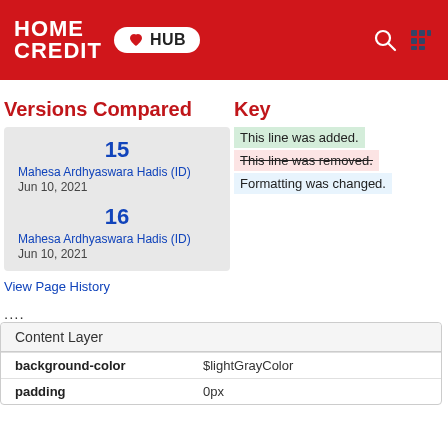HOME CREDIT MyHUB
Versions Compared
15
Mahesa Ardhyaswara Hadis (ID)
Jun 10, 2021

16
Mahesa Ardhyaswara Hadis (ID)
Jun 10, 2021
Key
This line was added.
This line was removed.
Formatting was changed.
View Page History
....
Content Layer
| Property | Value |
| --- | --- |
| background-color | $lightGrayColor |
| padding | 0px |